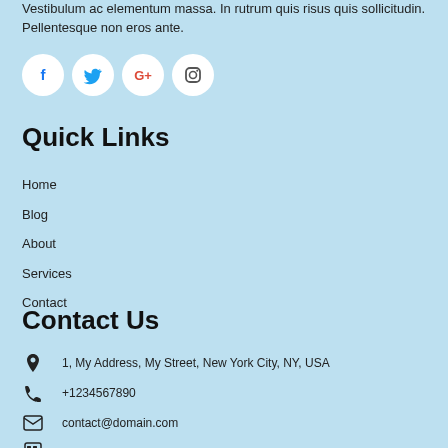Vestibulum ac elementum massa. In rutrum quis risus quis sollicitudin. Pellentesque non eros ante.
[Figure (illustration): Four social media icon circles: Facebook (f), Twitter (bird), Google+ (G+), Instagram (camera)]
Quick Links
Home
Blog
About
Services
Contact
Contact Us
1, My Address, My Street, New York City, NY, USA
+1234567890
contact@domain.com
1234567890